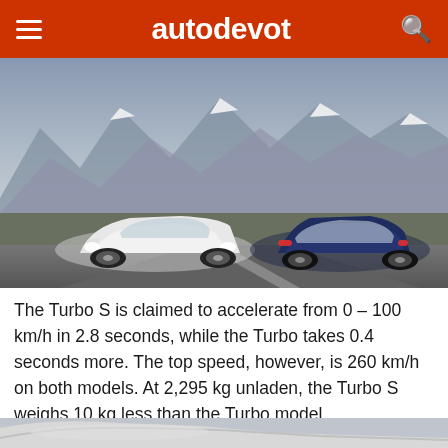autodevot
[Figure (photo): Two Porsche Taycan electric cars on a mountain road — a white one facing forward on the left and a dark blue one facing away on the right, with snow-capped mountains in the background.]
The Turbo S is claimed to accelerate from 0 – 100 km/h in 2.8 seconds, while the Turbo takes 0.4 seconds more. The top speed, however, is 260 km/h on both models. At 2,295 kg unladen, the Turbo S weighs 10 kg less than the Turbo model.
[Figure (photo): Partial close-up of a white Porsche Taycan, showing the front hood and fender at the bottom of the page.]